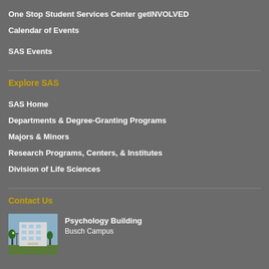One Stop Student Services Center getINVOLVED
Calendar of Events
SAS Events
Explore SAS
SAS Home
Departments & Degree-Granting Programs
Majors & Minors
Research Programs, Centers, & Institutes
Division of Life Sciences
Contact Us
[Figure (photo): Psychology Building on Busch Campus]
Psychology Building
Busch Campus